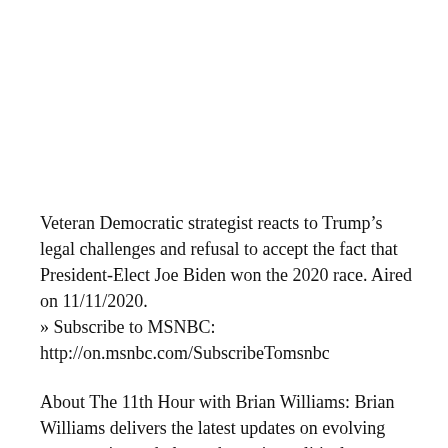Veteran Democratic strategist reacts to Trump's legal challenges and refusal to accept the fact that President-Elect Joe Biden won the 2020 race. Aired on 11/11/2020. » Subscribe to MSNBC: http://on.msnbc.com/SubscribeTomsnbc
About The 11th Hour with Brian Williams: Brian Williams delivers the latest updates on evolving news stories and places the major political events of the day into context for viewers. Broadcast live from New York, Williams also covers and comments from